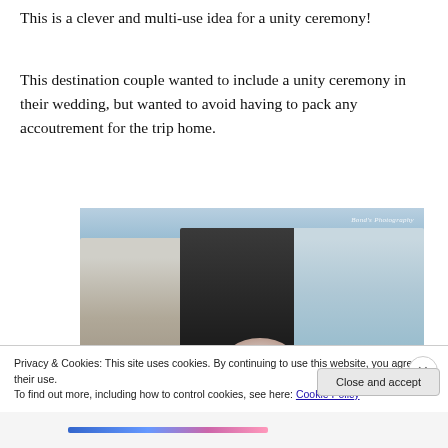This is a clever and multi-use idea for a unity ceremony!
This destination couple wanted to include a unity ceremony in their wedding, but wanted to avoid having to pack any accoutrement for the trip home.
[Figure (photo): Three women at a beach wedding ceremony: a blonde woman on the left, a dark-haired officiant in the center holding a book, and a grey-haired woman on the right in a light blue dress. Both women on the sides are holding white flower bouquets. Watermark reads 'Bond's Photography'.]
Privacy & Cookies: This site uses cookies. By continuing to use this website, you agree to their use.
To find out more, including how to control cookies, see here: Cookie Policy
Close and accept